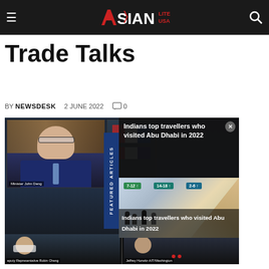Asian Lite USA
Trade Talks
BY NEWSDESK   2 JUNE 2022   0
[Figure (screenshot): Screenshot of a video conference call showing officials including Minister John Deng and Deputy Representative Robin Cheng, with an overlay popup about 'Indians top travellers who visited Abu Dhabi in 2022' featuring a FEATURED ARTICLES sidebar and an airport image with people walking through Abu Dhabi airport.]